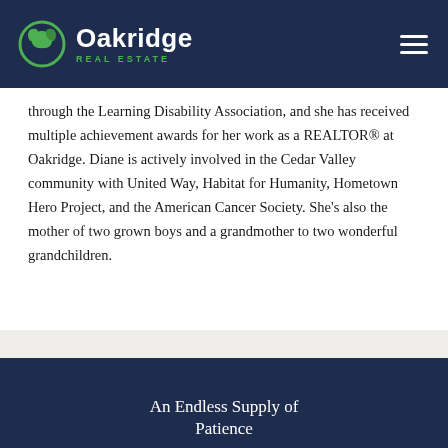Oakridge Real Estate
through the Learning Disability Association, and she has received multiple achievement awards for her work as a REALTOR® at Oakridge. Diane is actively involved in the Cedar Valley community with United Way, Habitat for Humanity, Hometown Hero Project, and the American Cancer Society. She's also the mother of two grown boys and a grandmother to two wonderful grandchildren.
An Endless Supply of Patience